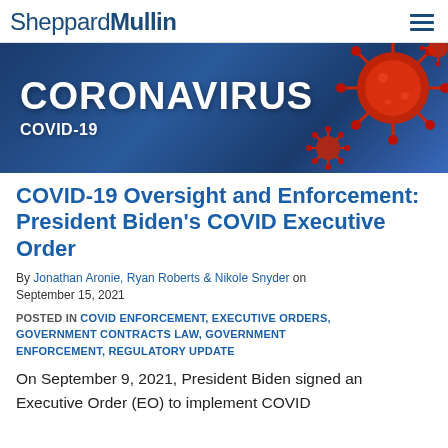SheppardMullin
[Figure (illustration): Coronavirus COVID-19 banner image with blue gradient background and red 3D coronavirus virus models on the right side. Large white bold text reads CORONAVIRUS with COVID-19 below it.]
COVID-19 Oversight and Enforcement: President Biden's COVID Executive Order
By Jonathan Aronie, Ryan Roberts & Nikole Snyder on September 15, 2021
POSTED IN COVID ENFORCEMENT, EXECUTIVE ORDERS, GOVERNMENT CONTRACTS LAW, GOVERNMENT ENFORCEMENT, REGULATORY UPDATE
On September 9, 2021, President Biden signed an Executive Order (EO) to implement COVID